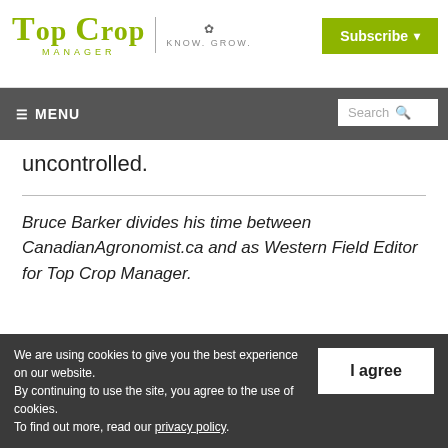Top Crop Manager | Know. Grow.
Subscribe
≡ MENU  Search
uncontrolled.
Bruce Barker divides his time between CanadianAgronomist.ca and as Western Field Editor for Top Crop Manager.
We are using cookies to give you the best experience on our website. By continuing to use the site, you agree to the use of cookies. To find out more, read our privacy policy.